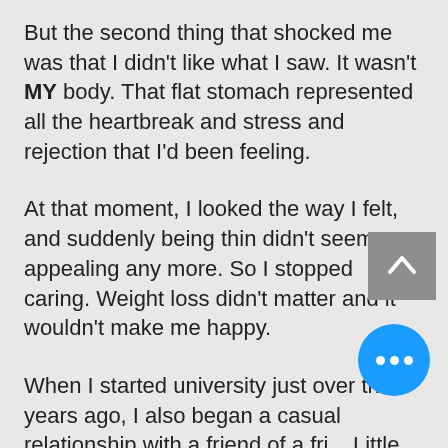But the second thing that shocked me was that I didn't like what I saw. It wasn't MY body. That flat stomach represented all the heartbreak and stress and rejection that I'd been feeling.
At that moment, I looked the way I felt, and suddenly being thin didn't seem so appealing any more. So I stopped caring. Weight loss didn't matter and it wouldn't make me happy.
When I started university just over three years ago, I also began a casual relationship with a friend of a fri... Little did I know that this would b... as a wonderfully fulfilling partnership.